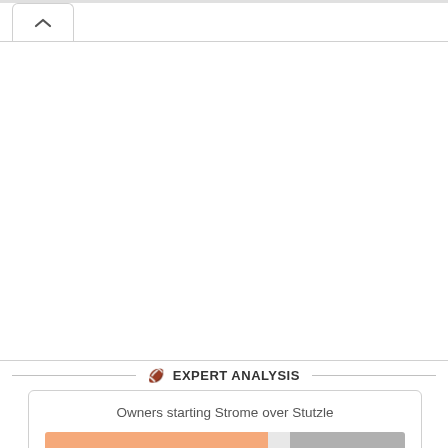[Figure (screenshot): UI tab/accordion collapse button with upward chevron arrow]
🏈 EXPERT ANALYSIS
Owners starting Strome over Stutzle
[Figure (bar-chart): Horizontal bar chart showing partial data for Strome vs Stutzle comparison, orange and gray segments visible]